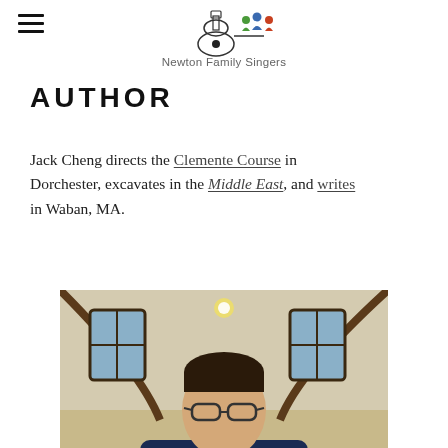Newton Family Singers
AUTHOR
Jack Cheng directs the Clemente Course in Dorchester, excavates in the Middle East, and writes in Waban, MA.
[Figure (photo): Man taking a selfie while holding a red accordion in a large room with arched windows]